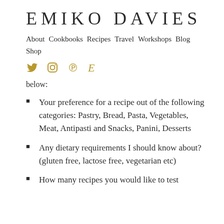EMIKO DAVIES
About  Cookbooks  Recipes  Travel  Workshops  Blog  Shop
below:
Your preference for a recipe out of the following categories: Pastry, Bread, Pasta, Vegetables, Meat, Antipasti and Snacks, Panini, Desserts
Any dietary requirements I should know about? (gluten free, lactose free, vegetarian etc)
How many recipes you would like to test